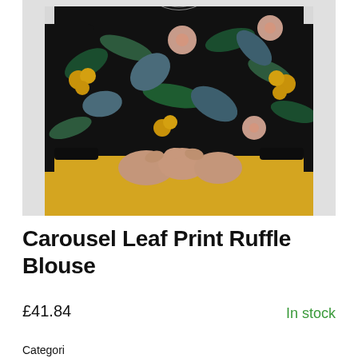[Figure (photo): A woman wearing a black floral/tropical leaf print ruffle blouse with pink, yellow, and blue flowers and leaves, paired with a mustard yellow skirt. She has her hands clasped in front of her. Only the torso and hands are visible.]
Carousel Leaf Print Ruffle Blouse
£41.84
In stock
Categories